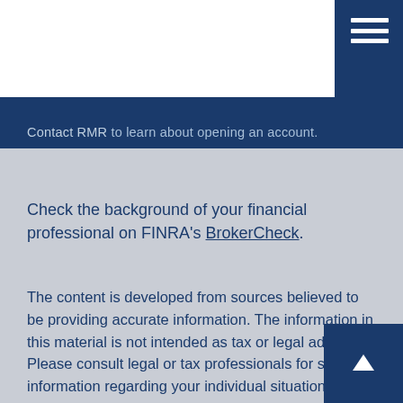Contact RMR to learn about opening an account.
Check the background of your financial professional on FINRA's BrokerCheck.
The content is developed from sources believed to be providing accurate information. The information in this material is not intended as tax or legal advice. Please consult legal or tax professionals for specific information regarding your individual situation. Some of this material was developed and produced by FMG Suite to provide